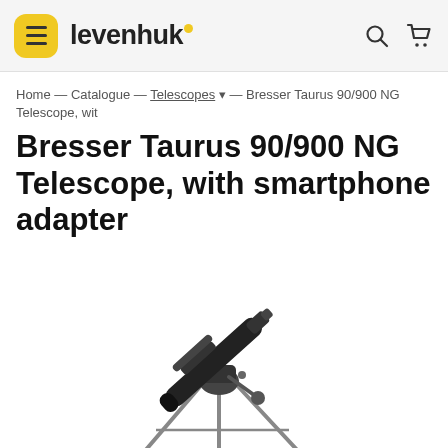levenhuk
Home — Catalogue — Telescopes ▾ — Bresser Taurus 90/900 NG Telescope, with
Bresser Taurus 90/900 NG Telescope, with smartphone adapter
[Figure (photo): Bresser Taurus 90/900 NG refracting telescope on a tripod against a white background. The telescope tube is black, angled upward to the left, with a finder scope mounted on top and an eyepiece. The mount and tripod legs are silver/grey metal.]